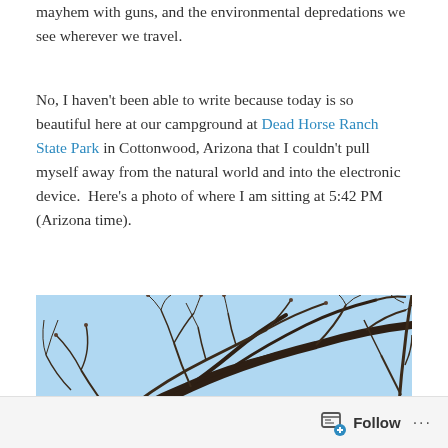mayhem with guns, and the environmental depredations we see wherever we travel.
No, I haven't been able to write because today is so beautiful here at our campground at Dead Horse Ranch State Park in Cottonwood, Arizona that I couldn't pull myself away from the natural world and into the electronic device.  Here's a photo of where I am sitting at 5:42 PM (Arizona time).
[Figure (photo): Looking up through bare tree branches silhouetted against a clear blue sky at Dead Horse Ranch State Park.]
Follow ...